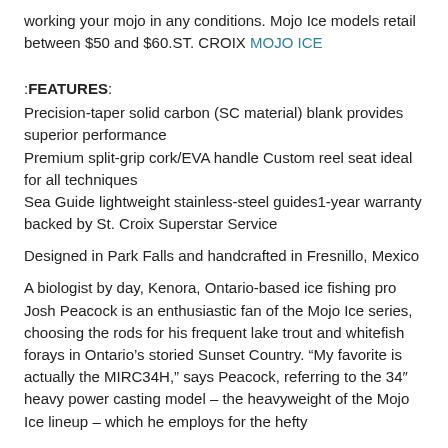working your mojo in any conditions. Mojo Ice models retail between $50 and $60.ST. CROIX MOJO ICE
:FEATURES:
Precision-taper solid carbon (SC material) blank provides superior performance
Premium split-grip cork/EVA handle Custom reel seat ideal for all techniques
Sea Guide lightweight stainless-steel guides1-year warranty backed by St. Croix Superstar Service
Designed in Park Falls and handcrafted in Fresnillo, Mexico
A biologist by day, Kenora, Ontario-based ice fishing pro Josh Peacock is an enthusiastic fan of the Mojo Ice series, choosing the rods for his frequent lake trout and whitefish forays in Ontario’s storied Sunset Country. “My favorite is actually the MIRC34H,” says Peacock, referring to the 34″ heavy power casting model – the heavyweight of the Mojo Ice lineup – which he employs for the hefty